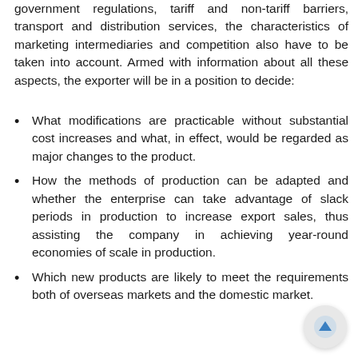government regulations, tariff and non-tariff barriers, transport and distribution services, the characteristics of marketing intermediaries and competition also have to be taken into account. Armed with information about all these aspects, the exporter will be in a position to decide:
What modifications are practicable without substantial cost increases and what, in effect, would be regarded as major changes to the product.
How the methods of production can be adapted and whether the enterprise can take advantage of slack periods in production to increase export sales, thus assisting the company in achieving year-round economies of scale in production.
Which new products are likely to meet the requirements both of overseas markets and the domestic market.